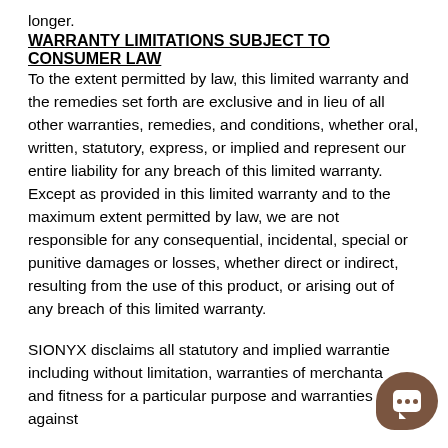longer.
WARRANTY LIMITATIONS SUBJECT TO CONSUMER LAW
To the extent permitted by law, this limited warranty and the remedies set forth are exclusive and in lieu of all other warranties, remedies, and conditions, whether oral, written, statutory, express, or implied and represent our entire liability for any breach of this limited warranty. Except as provided in this limited warranty and to the maximum extent permitted by law, we are not responsible for any consequential, incidental, special or punitive damages or losses, whether direct or indirect, resulting from the use of this product, or arising out of any breach of this limited warranty.
SIONYX disclaims all statutory and implied warranties, including without limitation, warranties of merchantability and fitness for a particular purpose and warranties against